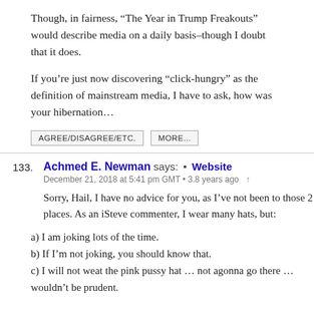Though, in fairness, “The Year in Trump Freakouts” would describe media on a daily basis–though I doubt that it does.
If you’re just now discovering “click-hungry” as the definition of mainstream media, I have to ask, how was your hibernation…
AGREE/DISAGREE/ETC.  MORE...
133. Achmed E. Newman says: • Website
December 21, 2018 at 5:41 pm GMT • 3.8 years ago
Sorry, Hail, I have no advice for you, as I’ve not been to those 2 places. As an iSteve commenter, I wear many hats, but:
a) I am joking lots of the time.
b) If I’m not joking, you should know that.
c) I will not weat the pink pussy hat … not agonna go there … wouldn’t be prudent.